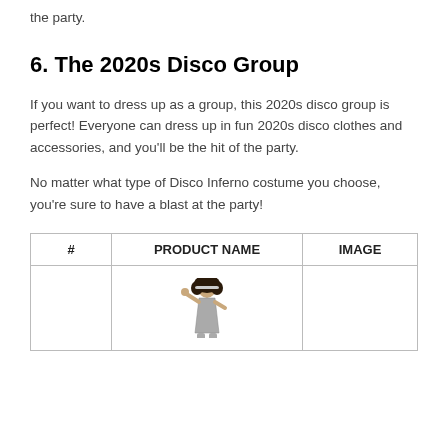the party.
6. The 2020s Disco Group
If you want to dress up as a group, this 2020s disco group is perfect! Everyone can dress up in fun 2020s disco clothes and accessories, and you'll be the hit of the party.
No matter what type of Disco Inferno costume you choose, you're sure to have a blast at the party!
| # | PRODUCT NAME | IMAGE |
| --- | --- | --- |
|  | [costume image] |  |